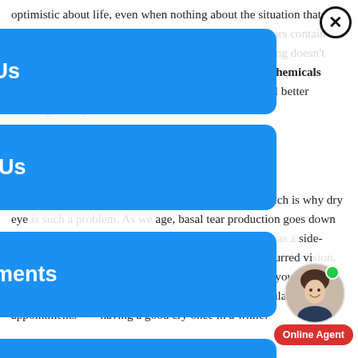optimistic about life, even when nothing about the situation that made us sad has changed. That's because emotional tears contain stress hormones that build up in times of distress. Crying doesn't just release pent-up emotion, it also purges harmful chemicals and triggers feel-good endorphins. No wonder we feel better after a good cry!
Let's Keep The Tears Flowing
Basal tears are essential to the health of your eyes, which is why dry eye is such a problem. As we age, basal tear production goes down and dry eye becomes a more common problem, often as a side-effect of medication. Dry eye can cause discomfort, blurred vision, and even vision loss, so make sure you come see us if you're experiencing it. In the meantime, keep scheduling regular appointments and having a good cry once in a while!
[Figure (infographic): Overlay menu with four blue cards: Review Us, Contact Us, Appointments, Web Chat. Each card has a white icon on the left and bold white label text. A close (X) button appears at top right.]
[Figure (photo): Avatar of a smiling woman with a green online indicator dot, and a red Online Agent button below.]